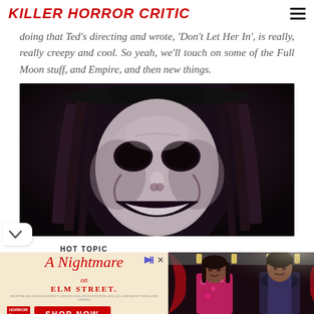KILLER HORROR CRITIC
doing that Ted's directing and wrote, 'Don't Let Her In', is really, really creepy and cool. So yeah, we'll touch on some of the Full Moon stuff, and Empire, and then new things.
[Figure (photo): Close-up of a person wearing a creepy white mask with dark hollow eyes and a wide grinning mouth, with long hair and a dark hat, photographed against a very dark background.]
[Figure (infographic): Advertisement for Hot Topic featuring 'A Nightmare on Elm Street' merchandise. Left side shows the stylized red logo text on a tan/cream background with a 'SHOP NOW' button. Right side shows two people wearing Nightmare on Elm Street themed clothing against a dark red curtain background.]